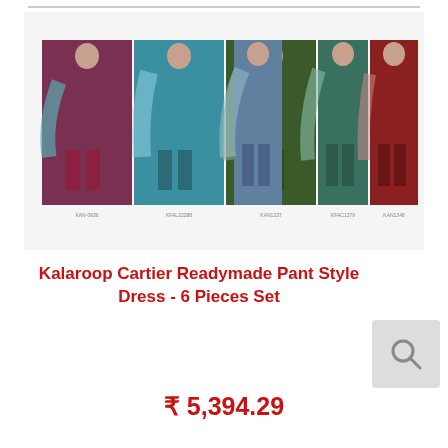[Figure (photo): Product photo showing 6 women modeling Kalaroop Cartier Readymade Pant Style suits in various colors including maroon/purple, teal, dark green, steel blue, green, and dark red/maroon. Displayed in two groups of three models each, with a watermark logo in the background.]
Kalaroop Cartier Readymade Pant Style Dress - 6 Pieces Set
₹ 5,394.29